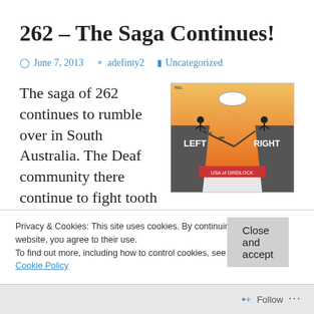262 – The Saga Continues!
June 7, 2013   adefinty2   Uncategorized
[Figure (illustration): Editorial cartoon showing two figures on opposite cliffs labeled LEFT and RIGHT with a damaged rope bridge between them, orange sky background, text at bottom reads 'USA of GRIDLOCK']
The saga of 262 continues to rumble over in South Australia. The Deaf community there continue to fight tooth
Privacy & Cookies: This site uses cookies. By continuing to use this website, you agree to their use.
To find out more, including how to control cookies, see here:
Cookie Policy
Close and accept
Follow